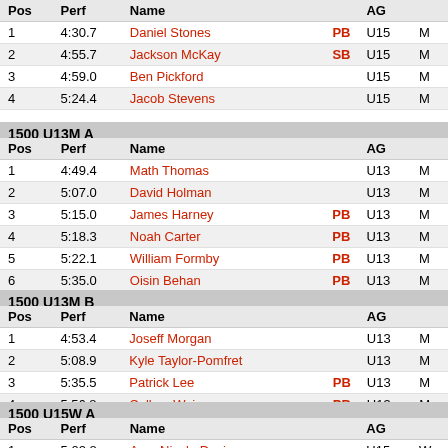1500 U13M B (continued top)
| Pos | Perf | Name |  | AG | Y |
| --- | --- | --- | --- | --- | --- |
| 1 | 4:30.7 | Daniel Stones | PB | U15 | M |
| 2 | 4:55.7 | Jackson McKay | SB | U15 | M |
| 3 | 4:59.0 | Ben Pickford |  | U15 | M |
| 4 | 5:24.4 | Jacob Stevens |  | U15 | M |
1500 U13M A
| Pos | Perf | Name |  | AG | Y |
| --- | --- | --- | --- | --- | --- |
| 1 | 4:49.4 | Math Thomas |  | U13 | M |
| 2 | 5:07.0 | David Holman |  | U13 | M |
| 3 | 5:15.0 | James Harney | PB | U13 | M |
| 4 | 5:18.3 | Noah Carter | PB | U13 | M |
| 5 | 5:22.1 | William Formby | PB | U13 | M |
| 6 | 5:35.0 | Oisin Behan | PB | U13 | M |
1500 U13M B
| Pos | Perf | Name |  | AG | Y |
| --- | --- | --- | --- | --- | --- |
| 1 | 4:53.4 | Joseff Morgan |  | U13 | M |
| 2 | 5:08.9 | Kyle Taylor-Pomfret |  | U13 | M |
| 3 | 5:35.5 | Patrick Lee | PB | U13 | M |
| 4 | 5:56.8 | Callum Wain | PB | U13 | M |
1500 U15W A
| Pos | Perf | Name |  | AG | Y |
| --- | --- | --- | --- | --- | --- |
| 1 | 5:02.8 | Amy-Nicola Davies |  | U15 | W |
| 2 | 5:13.3 | Martha Richards |  | U15 | W |